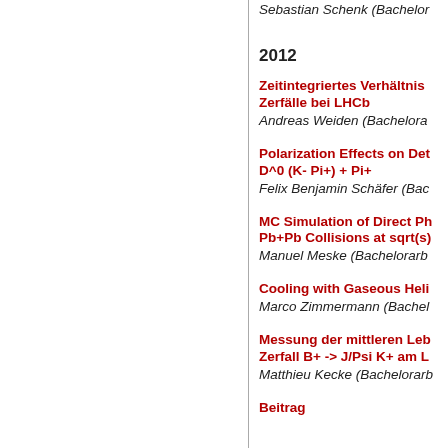Sebastian Schenk (Bachelor…
2012
Zeitintegriertes Verhältnis … Zerfälle bei LHCb
Andreas Weiden (Bachelorarbeit…)
Polarization Effects on Det… D^0 (K- Pi+) + Pi+
Felix Benjamin Schäfer (Bac…)
MC Simulation of Direct Ph… Pb+Pb Collisions at sqrt(s)…
Manuel Meske (Bachelorarb…)
Cooling with Gaseous Heli…
Marco Zimmermann (Bachel…)
Messung der mittleren Leb… Zerfall B+ -> J/Psi K+ am L…
Matthieu Kecke (Bachelorarb…)
Beitrag…